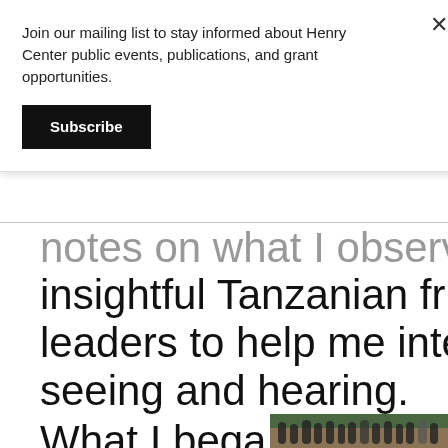Join our mailing list to stay informed about Henry Center public events, publications, and grant opportunities.
Subscribe
notes on what I observed. I asked insightful Tanzanian friends and leaders to help me interpret what I was seeing and hearing.
What I began to understand is that although pastors
[Figure (photo): Group of people standing outdoors in Tanzania, with red soil visible in the foreground and green trees in the background.]